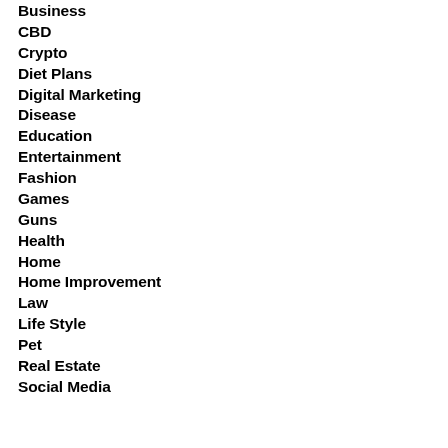Business
CBD
Crypto
Diet Plans
Digital Marketing
Disease
Education
Entertainment
Fashion
Games
Guns
Health
Home
Home Improvement
Law
Life Style
Pet
Real Estate
Social Media